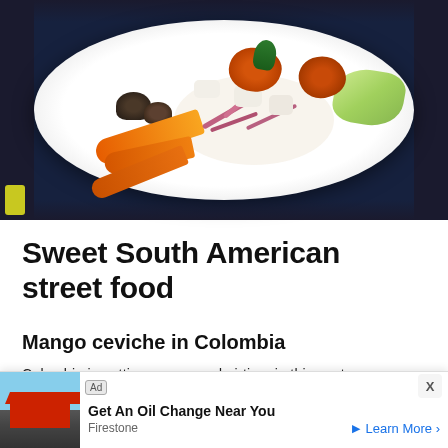[Figure (photo): Overhead close-up photograph of a white plate with South American ceviche dish featuring orange sweet potato chips, white fish chunks, red onion strips, orange carrots, green lettuce, and mushrooms on a dark background]
Sweet South American street food
Mango ceviche in Colombia
Colombia is getting some good airtime in this post...
[Figure (screenshot): Advertisement banner for Firestone oil change service. Shows 'Ad' label, image of a Firestone store, headline 'Get An Oil Change Near You', brand name 'Firestone', and 'Learn More >' link. Has a close X button in top right corner.]